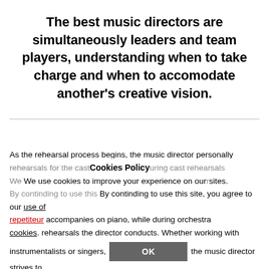The best music directors are simultaneously leaders and team players, understanding when to take charge and when to accomodate another's creative vision.
As the rehearsal process begins, the music director personally schedules and oversees separate music rehearsals for the cast. During cast rehearsals the music director or repetiteur accompanies on piano, while during orchestra rehearsals the director conducts. Whether working with instrumentalists or singers, the music director strives to shape and blend their sound, create a shared sense of
Cookies Policy
We use cookies to improve your experience on our sites. By continding to use this site, you agree to our use of cookies.
OK